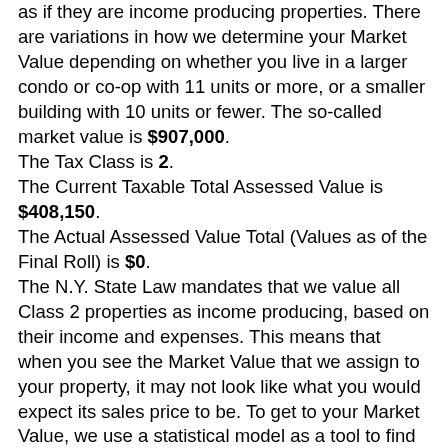as if they are income producing properties. There are variations in how we determine your Market Value depending on whether you live in a larger condo or co-op with 11 units or more, or a smaller building with 10 units or fewer. The so-called market value is $907,000. The Tax Class is 2. The Current Taxable Total Assessed Value is $408,150. The Actual Assessed Value Total (Values as of the Final Roll) is $0. The N.Y. State Law mandates that we value all Class 2 properties as income producing, based on their income and expenses. This means that when you see the Market Value that we assign to your property, it may not look like what you would expect its sales price to be. To get to your Market Value, we use a statistical model as a tool to find typical income and expenses for properties similar to yours (in terms of size, location, number of units and age). Next, we apply a formula to the income data to get to your Market Value. Class 2 properties include rental buildings, condominiums and cooperatives. All are valued as if they are income producing properties. There